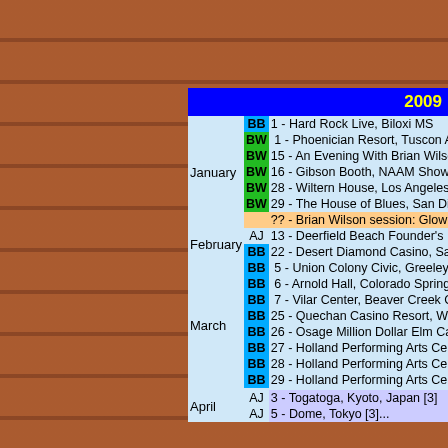2009
| Month | Tag | Event |
| --- | --- | --- |
| January | BB | 1 - Hard Rock Live, Biloxi MS |
|  | BW | 1 - Phoenician Resort, Tuscon A... |
|  | BW | 15 - An Evening With Brian Wilso... |
|  | BW | 16 - Gibson Booth, NAAM Show,... |
|  | BW | 28 - Wiltern House, Los Angeles C... |
|  | BW | 29 - The House of Blues, San Die... |
|  |  | ?? - Brian Wilson session: Glow W... |
| February | AJ | 13 - Deerfield Beach Founder's Da... |
|  | BB | 22 - Desert Diamond Casino, Sah... |
| March | BB | 5 - Union Colony Civic, Greeley... |
|  | BB | 6 - Arnold Hall, Colorado Spring... |
|  | BB | 7 - Vilar Center, Beaver Creek C... |
|  | BB | 25 - Quechan Casino Resort, Win... |
|  | BB | 26 - Osage Million Dollar Elm Ca... |
|  | BB | 27 - Holland Performing Arts Cen... |
|  | BB | 28 - Holland Performing Arts Cen... |
|  | BB | 29 - Holland Performing Arts Cen... |
| April | AJ | 3 - Togatoga, Kyoto, Japan [3] |
|  | AJ | 5 - Dome, Tokyo [3]... |